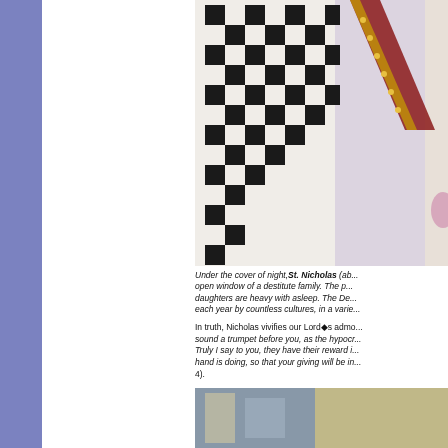[Figure (photo): Icon painting showing St. Nicholas in vestments with black and white cross pattern against draped white fabric background, with a decorative staff.]
Under the cover of night, St. Nicholas (ab... open window of a destitute family. The p... daughters are heavy with asleep. The De... each year by countless cultures, in a varie...
In truth, Nicholas vivifies our Lord◆s admo... sound a trumpet before you, as the hypocr... Truly I say to you, they have their reward i... hand is doing, so that your giving will be in... 4).
[Figure (photo): Partial view of another religious icon or painting at the bottom of the page.]